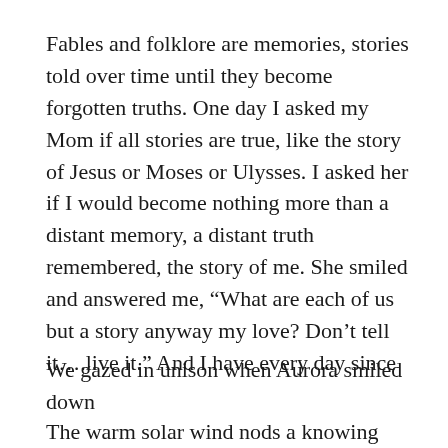Fables and folklore are memories, stories told over time until they become forgotten truths. One day I asked my Mom if all stories are true, like the story of Jesus or Moses or Ulysses. I asked her if I would become nothing more than a distant memory, a distant truth remembered, the story of me. She smiled and answered me, “What are each of us but a story anyway my love? Don’t tell it….live it.” And I have every day since
We gazed in unison when Aurora smiled down
The warm solar wind nods a knowing wink